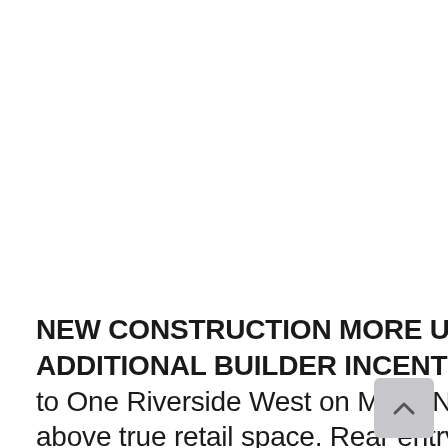[Figure (photo): White/blank image area at top of page, likely a property photo placeholder]
NEW CONSTRUCTION MORE UNITS AVAILABLE!!! ***ASK ABOUT ADDITIONAL BUILDER INCENTIVES FOR JUNE ONLY*** Welcome to One Riverside West on Main. Now offering 5 additional condo units above true retail space. Rear entry